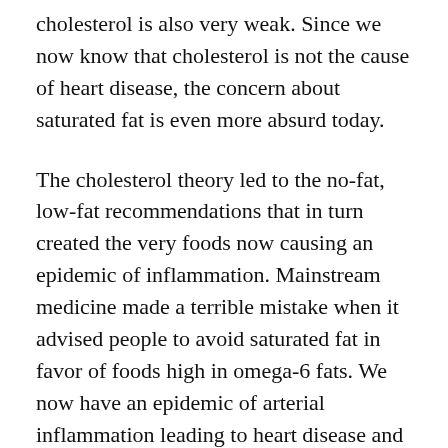cholesterol is also very weak. Since we now know that cholesterol is not the cause of heart disease, the concern about saturated fat is even more absurd today.
The cholesterol theory led to the no-fat, low-fat recommendations that in turn created the very foods now causing an epidemic of inflammation. Mainstream medicine made a terrible mistake when it advised people to avoid saturated fat in favor of foods high in omega-6 fats. We now have an epidemic of arterial inflammation leading to heart disease and other silent killers.